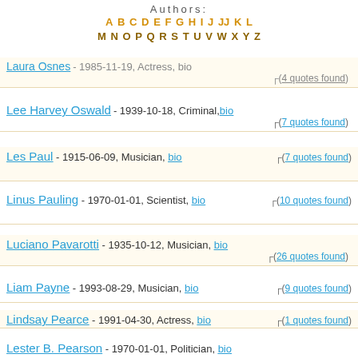Authors: A B C D E F G H I J J K L M N O P Q R S T U V W X Y Z
Laura Osnes - 1985-11-19, Actress, bio (4 quotes found)
Lee Harvey Oswald - 1939-10-18, Criminal, bio (7 quotes found)
Les Paul - 1915-06-09, Musician, bio (7 quotes found)
Linus Pauling - 1970-01-01, Scientist, bio (10 quotes found)
Luciano Pavarotti - 1935-10-12, Musician, bio (26 quotes found)
Liam Payne - 1993-08-29, Musician, bio (9 quotes found)
Lindsay Pearce - 1991-04-30, Actress, bio (1 quotes found)
Lester B. Pearson - 1970-01-01, Politician, bio (31 quotes found)